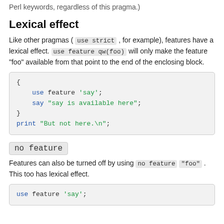Perl keywords, regardless of this pragma.)
Lexical effect
Like other pragmas ( use strict , for example), features have a lexical effect. use feature qw(foo) will only make the feature "foo" available from that point to the end of the enclosing block.
[Figure (screenshot): Code block showing: {
    use feature 'say';
    say "say is available here";
}
print "But not here.\n";]
no feature
Features can also be turned off by using no feature "foo" . This too has lexical effect.
[Figure (screenshot): Code block showing: use feature 'say';]